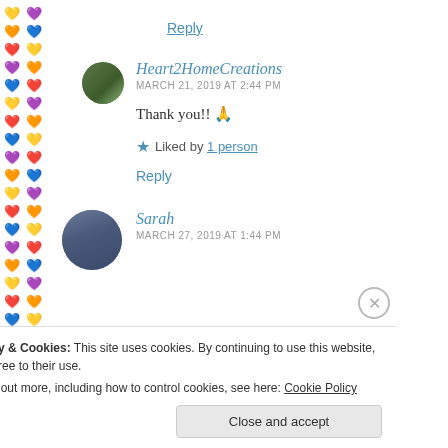Reply
Heart2HomeCreations
MARCH 21, 2019 AT 2:44 PM
Thank you!! 🙏
★ Liked by 1 person
Reply
Sarah
MARCH 27, 2019 AT 1:44 PM
Privacy & Cookies: This site uses cookies. By continuing to use this website, you agree to their use. To find out more, including how to control cookies, see here: Cookie Policy
Close and accept